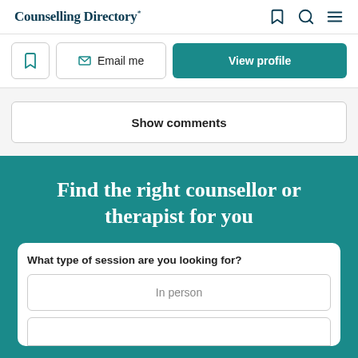Counselling Directory*
Email me | View profile
Show comments
Find the right counsellor or therapist for you
What type of session are you looking for?
In person